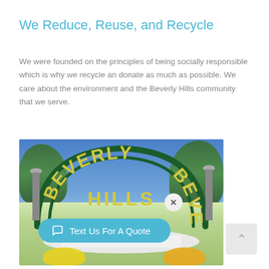We Reduce, Reuse, and Recycle
We were founded on the principles of being socially responsible which is why we recycle an donate as much as possible. We care about the environment and the Beverly Hills community that we serve.
[Figure (photo): Photo of the Beverly Hills sign arch with yellow letters on a green iron frame, lamp posts on either side, a fountain base at the bottom, flowers and trees, with a blue sky background. A chat button overlay reading 'Text Us For A Quote' appears at the bottom left of the image, with a close button (X).]